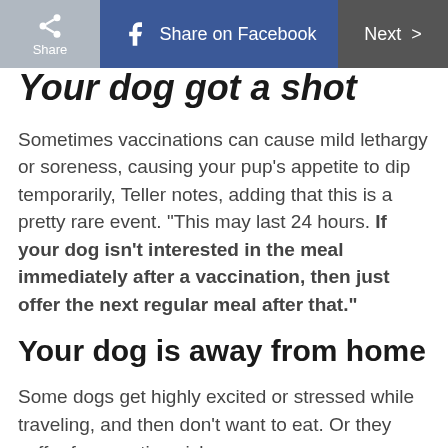Share | Share on Facebook | Next >
Your dog got a shot
Sometimes vaccinations can cause mild lethargy or soreness, causing your pup’s appetite to dip temporarily, Teller notes, adding that this is a pretty rare event. “This may last 24 hours. If your dog isn’t interested in the meal immediately after a vaccination, then just offer the next regular meal after that.”
Your dog is away from home
Some dogs get highly excited or stressed while traveling, and then don’t want to eat. Or they suffer from motion sickness